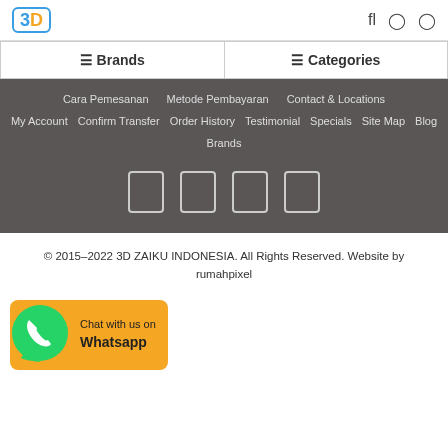3D | Brands | Categories | fl
Cara Pemesanan | Metode Pembayaran | Contact & Locations
My Account | Confirm Transfer | Order History | Testimonial | Specials | Site Map | Blog | Brands
[Figure (other): Social media icons (4 rectangles)]
© 2015-2022 3D ZAIKU INDONESIA. All Rights Reserved. Website by rumahpixel
[Figure (other): Chat with us on Whatsapp button with WhatsApp logo]